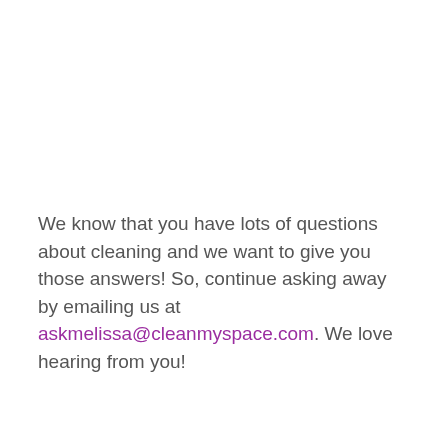We know that you have lots of questions about cleaning and we want to give you those answers! So, continue asking away by emailing us at askmelissa@cleanmyspace.com. We love hearing from you!